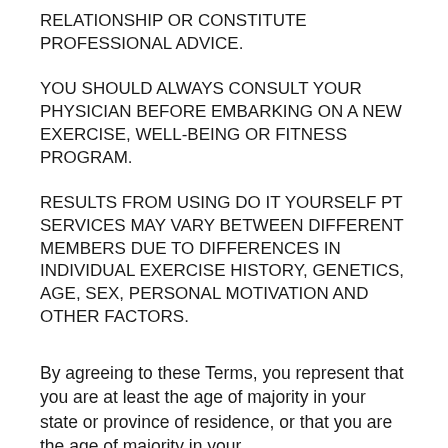RELATIONSHIP OR CONSTITUTE PROFESSIONAL ADVICE.
YOU SHOULD ALWAYS CONSULT YOUR PHYSICIAN BEFORE EMBARKING ON A NEW EXERCISE, WELL-BEING OR FITNESS PROGRAM.
RESULTS FROM USING DO IT YOURSELF PT SERVICES MAY VARY BETWEEN DIFFERENT MEMBERS DUE TO DIFFERENCES IN INDIVIDUAL EXERCISE HISTORY, GENETICS, AGE, SEX, PERSONAL MOTIVATION AND OTHER FACTORS.
By agreeing to these Terms, you represent that you are at least the age of majority in your state or province of residence, or that you are the age of majority in your